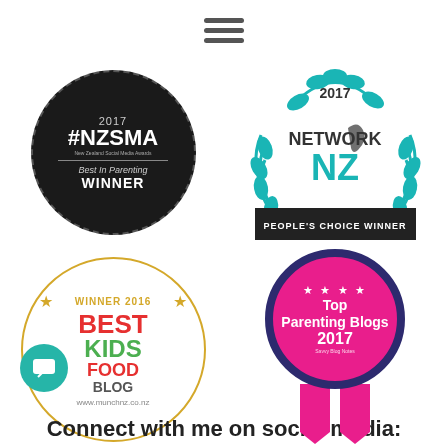[Figure (logo): Hamburger menu icon (three horizontal lines)]
[Figure (logo): #NZSMA 2017 Best In Parenting WINNER badge - dark circular badge with dashed border]
[Figure (logo): Network NZ 2017 People's Choice Winner badge - teal laurel wreath with NZ map silhouette]
[Figure (logo): Winner 2016 Best Kids Food Blog badge - circular gold border badge with colorful text]
[Figure (logo): Top Parenting Blogs 2017 ribbon badge - pink circle with dark navy border and pink ribbon tails]
Connect with me on social media: